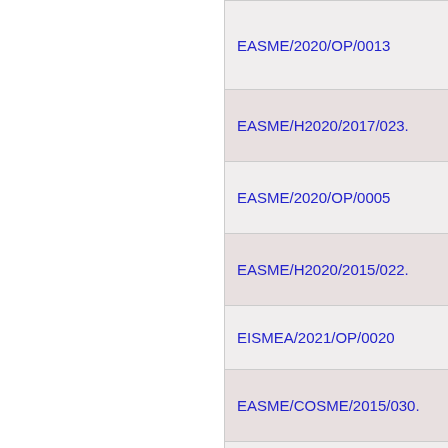|  | Reference | Description |
| --- | --- | --- |
|  | EASME/2020/OP/0013 | Izkrauša pienākum pasākum izmetu... |
|  | EASME/H2020/2017/023. | Interaktī portāla " d... |
|  | EASME/2020/OP/0005 | Intelektu īpašuma analīzes |
|  | EASME/H2020/2015/022. | Inovāciju gūšana jaunietek |
|  | EISMEA/2021/OP/0020 | Innospac |
|  | EASME/COSME/2015/030. | Informēt veicināš kampaņa |
|  | EASME/COSME/2017/020. | Informāt pasākum politikas |